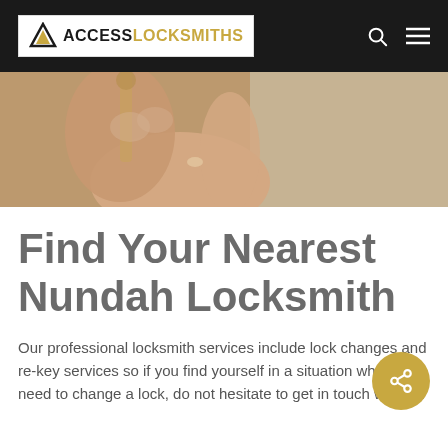ACCESS LOCKSMITHS
[Figure (photo): Close-up of a hand holding a key, inserting it into a lock. Warm beige/tan tones.]
Find Your Nearest Nundah Locksmith
Our professional locksmith services include lock changes and re-key services so if you find yourself in a situation when you need to change a lock, do not hesitate to get in touch with us.